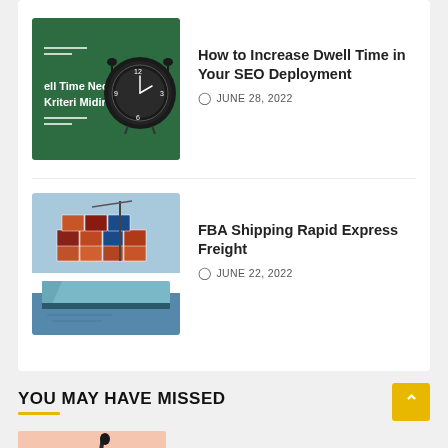[Figure (photo): Green background with white text 'ell Time Nedir, Kriteri Midir?' and an alarm clock on the right]
How to Increase Dwell Time in Your SEO Deployment
JUNE 28, 2022
[Figure (photo): Cargo ship loaded with colorful shipping containers at a port]
FBA Shipping Rapid Express Freight
JUNE 22, 2022
YOU MAY HAVE MISSED
[Figure (photo): Partial thumbnail image with pink/peach background, partially visible]